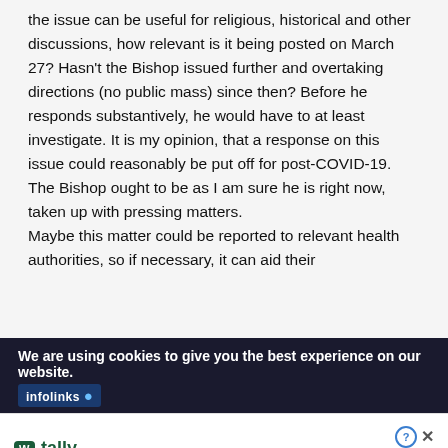the issue can be useful for religious, historical and other discussions, how relevant is it being posted on March 27? Hasn't the Bishop issued further and overtaking directions (no public mass) since then? Before he responds substantively, he would have to at least investigate. It is my opinion, that a response on this issue could reasonably be put off for post-COVID-19. The Bishop ought to be as I am sure he is right now, taken up with pressing matters.

Maybe this matter could be reported to relevant health authorities, so if necessary, it can aid their
We are using cookies to give you the best experience on our website.
[Figure (screenshot): Tally ad banner: logo with green W icon and 'tally' text, tagline 'Fast credit card payoff', green 'Download Now' button with arrow, help and close icons in top right.]